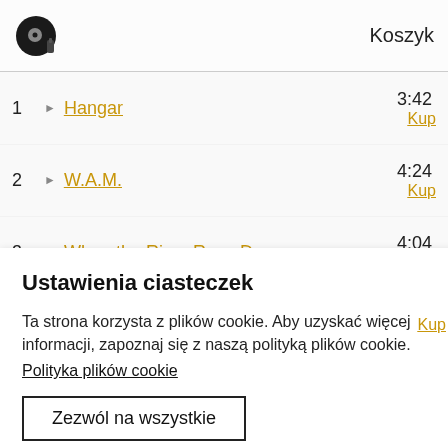Koszyk
1 ► Hangar 3:42 Kup
2 ► W.A.M. 4:24 Kup
3 ► When the River Runs Dry 4:04 Kup
4 ... Kup
Ustawienia ciasteczek
Ta strona korzysta z plików cookie. Aby uzyskać więcej informacji, zapoznaj się z naszą polityką plików cookie.
Polityka plików cookie
Zezwól na wszystkie
Zarządzaj preferencjami zgody